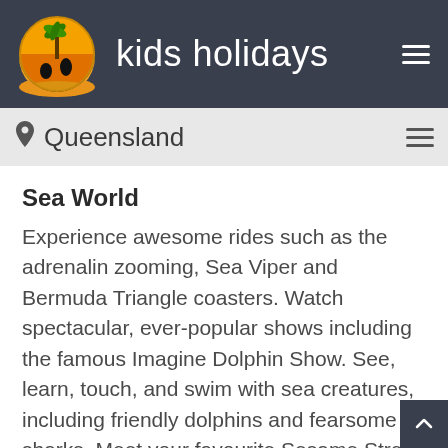kids holidays
Queensland
Sea World
Experience awesome rides such as the adrenalin zooming, Sea Viper and Bermuda Triangle coasters. Watch spectacular, ever-popular shows including the famous Imagine Dolphin Show. See, learn, touch, and swim with sea creatures, including friendly dolphins and fearsome sharks. Meet your favourite Sesame Street friends, including Elmo and Big